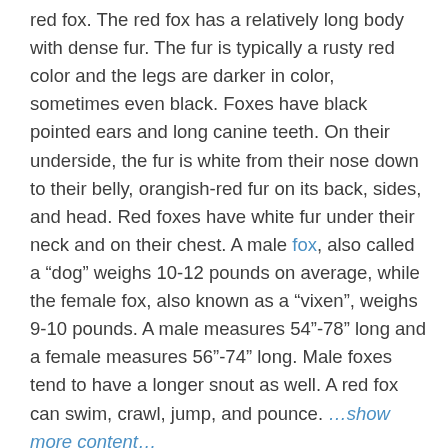red fox. The red fox has a relatively long body with dense fur. The fur is typically a rusty red color and the legs are darker in color, sometimes even black. Foxes have black pointed ears and long canine teeth. On their underside, the fur is white from their nose down to their belly, orangish-red fur on its back, sides, and head. Red foxes have white fur under their neck and on their chest. A male fox, also called a “dog” weighs 10-12 pounds on average, while the female fox, also known as a “vixen”, weighs 9-10 pounds. A male measures 54”-78” long and a female measures 56”-74” long. Male foxes tend to have a longer snout as well. A red fox can swim, crawl, jump, and pounce. …show more content… The red fox has a parasitism relationship with a